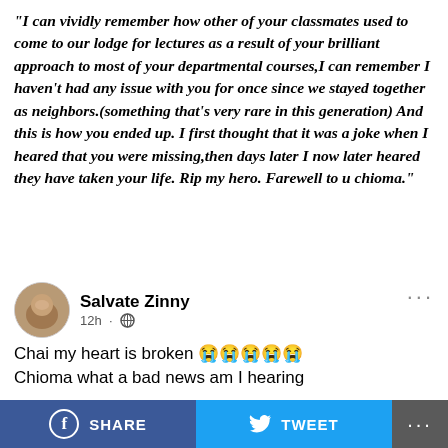"I can vividly remember how other of your classmates used to come to our lodge for lectures as a result of your brilliant approach to most of your departmental courses,I can remember I haven't had any issue with you for once since we stayed together as neighbors.(something that's very rare in this generation) And this is how you ended up. I first thought that it was a joke when I heared that you were missing,then days later I now later heared they have taken your life. Rip my hero. Farewell to u chioma."
Salvate Zinny
12h · 🌐
Chai my heart is broken 😭😭😭😭😭
Chioma what a bad news am hearing
SHARE   TWEET   ...